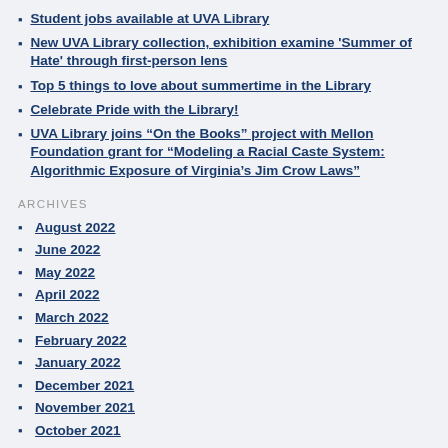Student jobs available at UVA Library
New UVA Library collection, exhibition examine ‘Summer of Hate’ through first-person lens
Top 5 things to love about summertime in the Library
Celebrate Pride with the Library!
UVA Library joins “On the Books” project with Mellon Foundation grant for “Modeling a Racial Caste System: Algorithmic Exposure of Virginia’s Jim Crow Laws”
ARCHIVES
August 2022
June 2022
May 2022
April 2022
March 2022
February 2022
January 2022
December 2021
November 2021
October 2021
September 2021